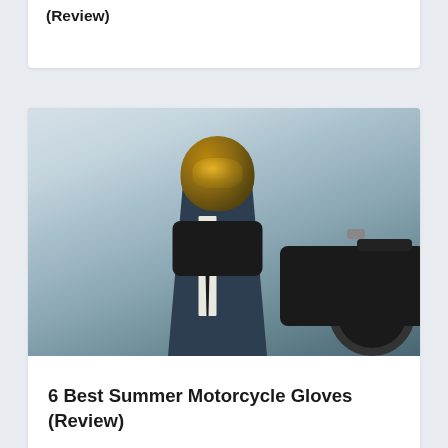(Review)
[Figure (photo): Man in a dark suit wearing a bronze/gold motorcycle helmet, adjusting black gloves, standing in front of a classic motorcycle on a city street]
6 Best Summer Motorcycle Gloves (Review)